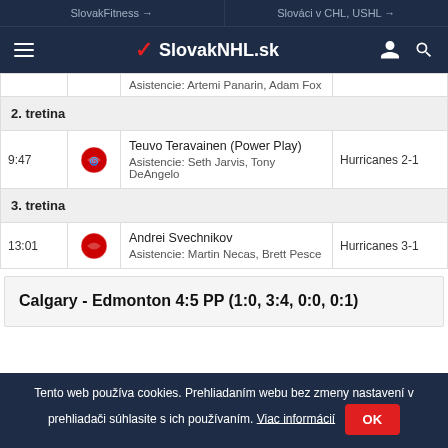SlovakFitness → | Slováci v CHL, USHL →
≡ SlovakNHL.sk
| Time | Team | Event | Score |
| --- | --- | --- | --- |
|  |  | Asistencie: Artemi Panarin, Adam Fox |  |
| 2. tretina |  |  |  |
| 9:47 | Carolina | Teuvo Teravainen (Power Play)
Aisistencie: Seth Jarvis, Tony DeAngelo | Hurricanes 2-1 |
| 3. tretina |  |  |  |
| 13:01 | Carolina | Andrei Svechnikov
Aisistencie: Martin Necas, Brett Pesce | Hurricanes 3-1 |
Calgary - Edmonton 4:5 PP (1:0, 3:4, 0:0, 0:1)
Tento web používa cookies. Prehliadaním webu bez zmeny nastavení v prehliadači súhlasite s ich používaním. Viac informácií OK